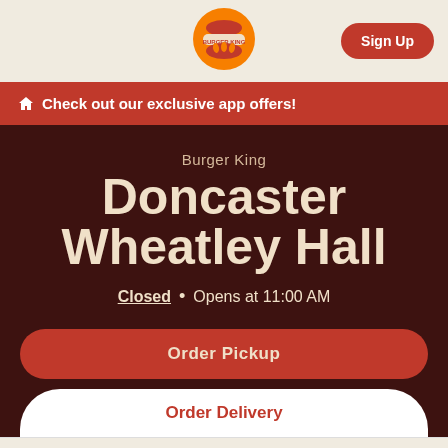[Figure (logo): Burger King logo - orange and red circular logo with bun, flame, and text]
Sign Up
🏠 Check out our exclusive app offers!
Burger King
Doncaster Wheatley Hall
Closed • Opens at 11:00 AM
Order Pickup
Order Delivery
Home  Offers  Order  Menu  More